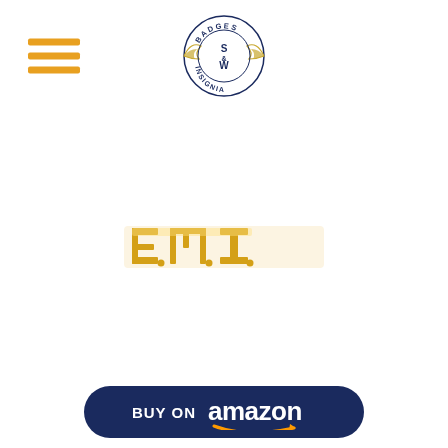[Figure (logo): S&W Badges Insignia logo - circular badge with wings, navy blue text reading BADGES on top arc and INSIGNIA on bottom arc, S&W in center]
[Figure (photo): Gold colored E.M.T. letter pin/insignia on white background]
[Figure (logo): Buy on Amazon button - dark navy rounded rectangle with white text BUY ON amazon with orange arrow swoosh]